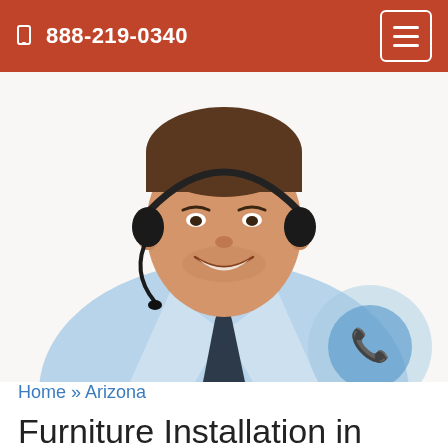888-219-0340
[Figure (photo): Smiling man in a light blue dress shirt and dark tie wearing a phone headset, on white background. A semi-transparent blue phone icon bubble is overlaid in the lower right corner.]
Home » Arizona
Furniture Installation in